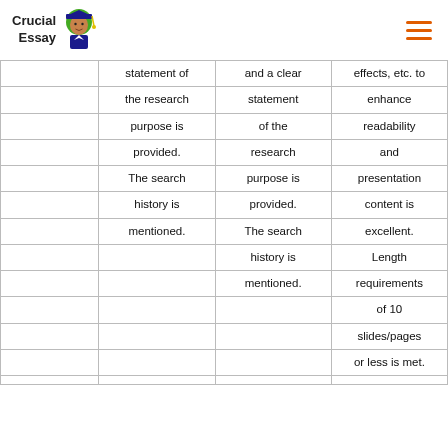Crucial Essay
|  | statement of | and a clear | effects, etc. to |
|  | the research | statement | enhance |
|  | purpose is | of the | readability |
|  | provided. | research | and |
|  | The search | purpose is | presentation |
|  | history is | provided. | content is |
|  | mentioned. | The search | excellent. |
|  |  | history is | Length |
|  |  | mentioned. | requirements |
|  |  |  | of 10 |
|  |  |  | slides/pages |
|  |  |  | or less is met. |
|  |  |  |  |